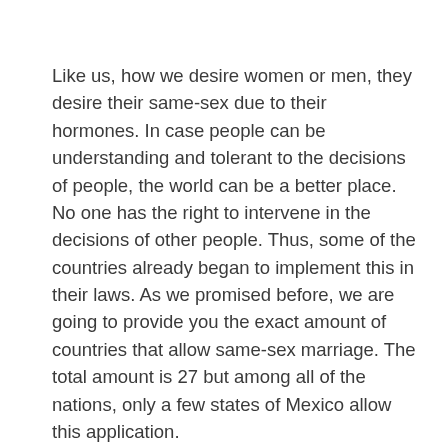Like us, how we desire women or men, they desire their same-sex due to their hormones. In case people can be understanding and tolerant to the decisions of people, the world can be a better place. No one has the right to intervene in the decisions of other people. Thus, some of the countries already began to implement this in their laws. As we promised before, we are going to provide you the exact amount of countries that allow same-sex marriage. The total amount is 27 but among all of the nations, only a few states of Mexico allow this application.